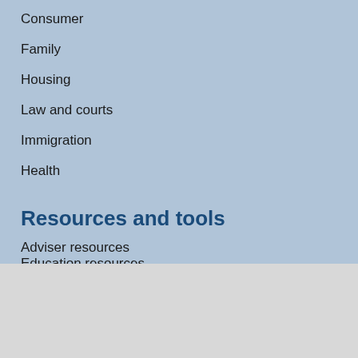Consumer
Family
Housing
Law and courts
Immigration
Health
Resources and tools
Adviser resources
Education resources
We use cookies to improve your experience of our website. You can find out more or opt-out from some cookies.
I'm fine with cookies